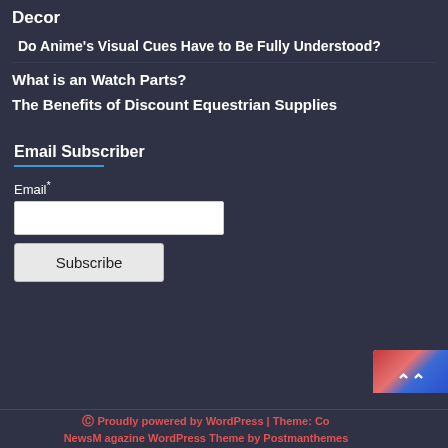Decor
Do Anime's Visual Cues Have to Be Fully Understood?
What is an Watch Parts?
The Benefits of Discount Equestrian Supplies
Email Subscriber
Email*
Subscribe
Proudly powered by WordPress | Theme: Co... NewsM agazine WordPress Theme by Postmanthemes